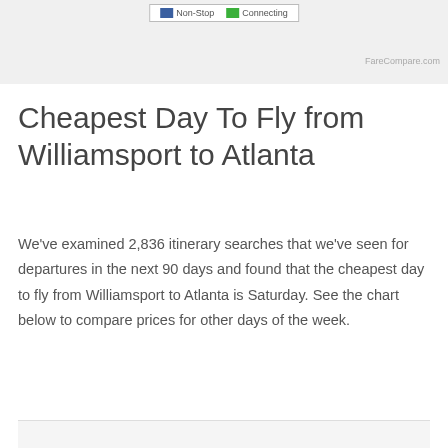[Figure (other): Top navigation/legend bar with two legend items (Non-Stop and Connecting) shown in a bordered box, on a gray background]
FareCompare.com
Cheapest Day To Fly from Williamsport to Atlanta
We've examined 2,836 itinerary searches that we've seen for departures in the next 90 days and found that the cheapest day to fly from Williamsport to Atlanta is Saturday. See the chart below to compare prices for other days of the week.